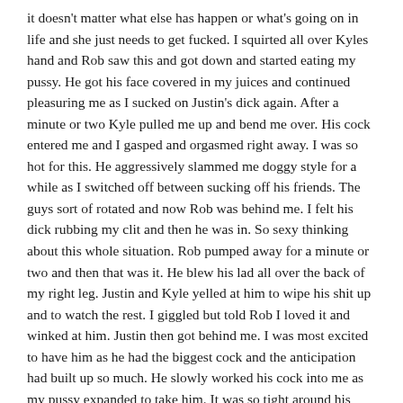it doesn't matter what else has happen or what's going on in life and she just needs to get fucked. I squirted all over Kyles hand and Rob saw this and got down and started eating my pussy. He got his face covered in my juices and continued pleasuring me as I sucked on Justin's dick again. After a minute or two Kyle pulled me up and bend me over. His cock entered me and I gasped and orgasmed right away. I was so hot for this. He aggressively slammed me doggy style for a while as I switched off between sucking off his friends. The guys sort of rotated and now Rob was behind me. I felt his dick rubbing my clit and then he was in. So sexy thinking about this whole situation. Rob pumped away for a minute or two and then that was it. He blew his lad all over the back of my right leg. Justin and Kyle yelled at him to wipe his shit up and to watch the rest. I giggled but told Rob I loved it and winked at him. Justin then got behind me. I was most excited to have him as he had the biggest cock and the anticipation had built up so much. He slowly worked his cock into me as my pussy expanded to take him. It was so tight around his cock and finally he was balls deep and just slowly started humping me. It was